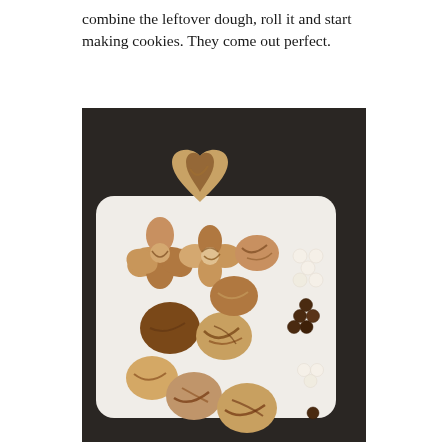combine the leftover dough, roll it and start making cookies. They come out perfect.
[Figure (photo): Overhead photo of a white rectangular plate on a dark background, holding assorted marble/two-tone cookies in heart, flower, and round shapes, along with small clusters of white and dark chocolate chips arranged to the right side of the plate.]